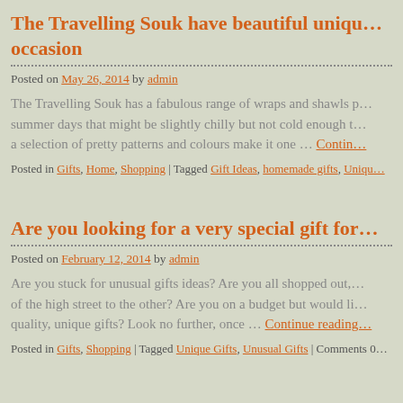The Travelling Souk have beautiful unique gifts for every occasion
Posted on May 26, 2014 by admin
The Travelling Souk has a fabulous range of wraps and shawls perfect for summer days that might be slightly chilly but not cold enough to... a selection of pretty patterns and colours make it one … Continue reading
Posted in Gifts, Home, Shopping | Tagged Gift Ideas, homemade gifts, Uniqu...
Are you looking for a very special gift for...
Posted on February 12, 2014 by admin
Are you stuck for unusual gifts ideas? Are you all shopped out, of the high street to the other? Are you on a budget but would like quality, unique gifts? Look no further, once … Continue reading
Posted in Gifts, Shopping | Tagged Unique Gifts, Unusual Gifts | Comments 0